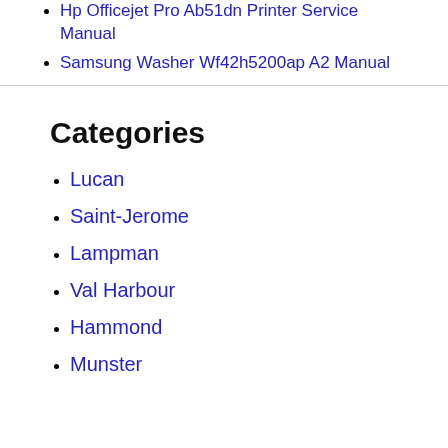Hp Officejet Pro Ab51dn Printer Service Manual
Samsung Washer Wf42h5200ap A2 Manual
Categories
Lucan
Saint-Jerome
Lampman
Val Harbour
Hammond
Munster